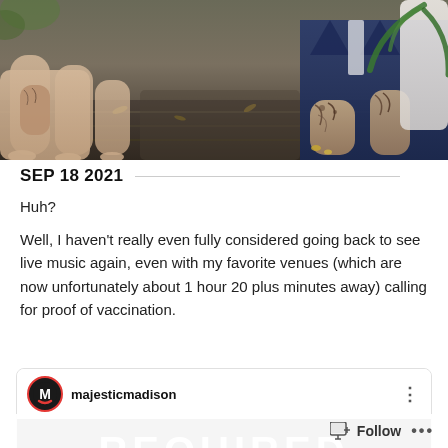[Figure (photo): Photo of two people sitting on a wooden deck; one person with tattooed arms in a blue suit on the right, one with bare legs on the left; a white plant pot is visible on the far right.]
SEP 18 2021
Huh?
Well, I haven't really even fully considered going back to see live music again, even with my favorite venues (which are now unfortunately about 1 hour 20 plus minutes away) calling for proof of vaccination.
[Figure (screenshot): Embedded Instagram-style post from user 'majesticmadison' showing the beginning of a black image with large bold white text reading 'REQUIRED'.]
Follow ...